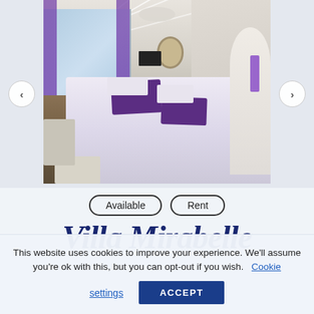[Figure (photo): Interior of a luxury villa bedroom with white vaulted ceiling with exposed beams and ceiling fan, purple curtains on glass sliding doors, hardwood floors, white ornate bed with purple pillows and cushions, white furniture including vanity with oval mirror, and a TV on the far wall.]
Available
Rent
Villa Mirabelle
This website uses cookies to improve your experience. We'll assume you're ok with this, but you can opt-out if you wish.  Cookie settings
ACCEPT